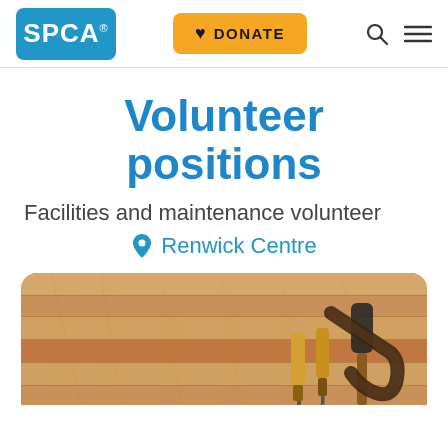SPCA® | DONATE | [search] [menu]
Volunteer positions
Facilities and maintenance volunteer
📍 Renwick Centre
[Figure (photo): Wooden surface with carpentry/maintenance tools including chisels and a mallet/hammer on a light wood plank background.]